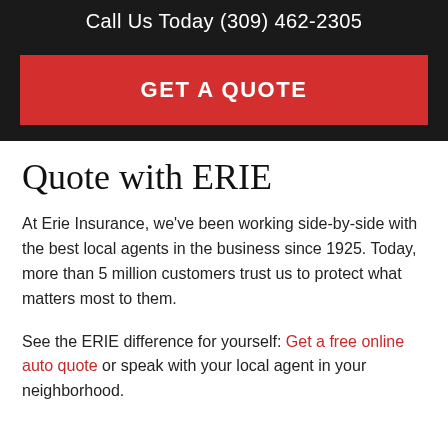Call Us Today (309) 462-2305
GET A QUOTE
Quote with ERIE
At Erie Insurance, we've been working side-by-side with the best local agents in the business since 1925. Today, more than 5 million customers trust us to protect what matters most to them.
See the ERIE difference for yourself: Get a free online auto quote or speak with your local agent in your neighborhood.